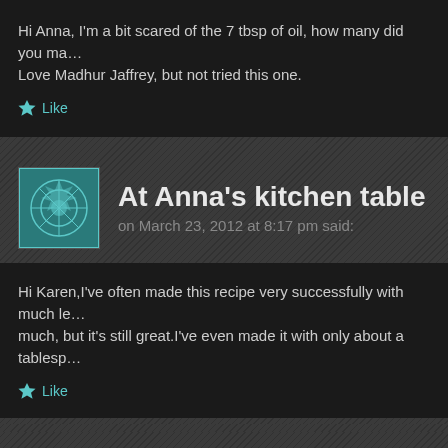Hi Anna, I'm a bit scared of the 7 tbsp of oil, how many did you ma… Love Madhur Jaffrey, but not tried this one.
Like
At Anna's kitchen table
on March 23, 2012 at 8:17 pm said:
Hi Karen,I've often made this recipe very successfully with much le… much, but it's still great.I've even made it with only about a tablesp…
Like
Home Cornwall
on November 27, 2012 at 8:03 pm said: